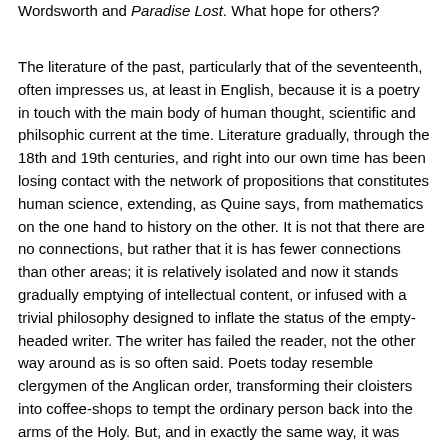Wordsworth and Paradise Lost. What hope for others?
The literature of the past, particularly that of the seventeenth, often impresses us, at least in English, because it is a poetry in touch with the main body of human thought, scientific and philsophic current at the time. Literature gradually, through the 18th and 19th centuries, and right into our own time has been losing contact with the network of propositions that constitutes human science, extending, as Quine says, from mathematics on the one hand to history on the other. It is not that there are no connections, but rather that it is has fewer connections than other areas; it is relatively isolated and now it stands gradually emptying of intellectual content, or infused with a trivial philosophy designed to inflate the status of the empty-headed writer. The writer has failed the reader, not the other way around as is so often said. Poets today resemble clergymen of the Anglican order, transforming their cloisters into coffee-shops to tempt the ordinary person back into the arms of the Holy. But, and in exactly the same way, it was never the masses who were important to the church; they supported it because they were compelled by circumstance. The church has failed because it has lost the support of the intellectuals, who gave it prestige and created the compelling circumstance that made it a powerful societal phenomena. Something very similar has happened to literary poetry. The priests of both are now in the process of replacing that loss by recruiting amongst those who were never deeply interested, and amongst the muddled and the consoled. But giving the attentive reader a book of serious poetry